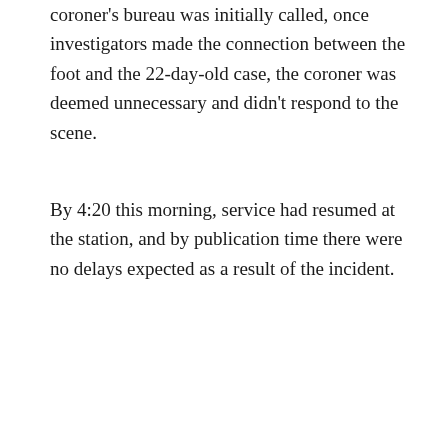coroner's bureau was initially called, once investigators made the connection between the foot and the 22-day-old case, the coroner was deemed unnecessary and didn't respond to the scene.
By 4:20 this morning, service had resumed at the station, and by publication time there were no delays expected as a result of the incident.